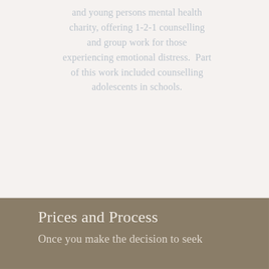and young persons mental health charity, offering 1-2-1 counselling and group work for those experiencing emotional distress.  Part of this work included counselling adolescents in schools.
Prices and Process
Once you make the decision to seek